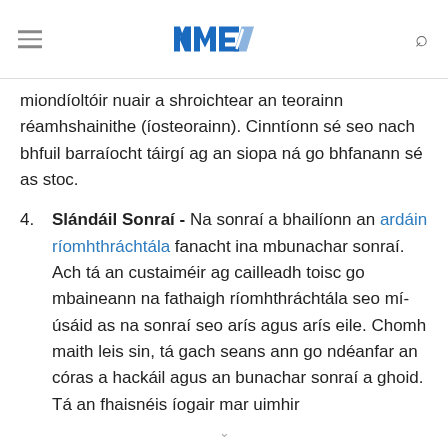NME logo with hamburger menu and search icon
miondíoltóir nuair a shroichtear an teorainn réamhshainithe (íosteorainn). Cinntíonn sé seo nach bhfuil barraíocht táirgí ag an siopa ná go bhfanann sé as stoc.
4. Slándáil Sonraí - Na sonraí a bhailíonn an ardáin ríomhthráchtála fanacht ina mbunachar sonraí. Ach tá an custaiméir ag cailleadh toisc go mbaineann na fathaigh ríomhthráchtála seo mí-úsáid as na sonraí seo arís agus arís eile. Chomh maith leis sin, tá gach seans ann go ndéanfar an córas a hackáil agus an bunachar sonraí a ghoid. Tá an fhaisnéis íogair mar uimhir